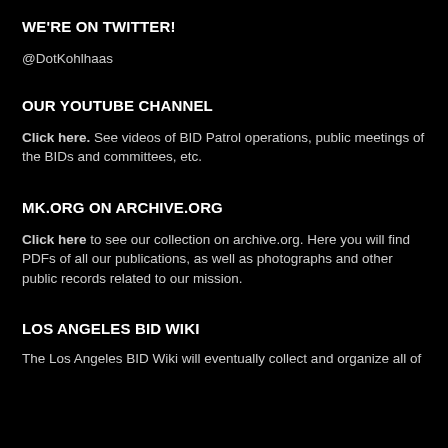WE'RE ON TWITTER!
@DotKohlhaas
OUR YOUTUBE CHANNEL
Click here. See videos of BID Patrol operations, public meetings of the BIDs and committees, etc.
MK.ORG ON ARCHIVE.ORG
Click here to see our collection on archive.org. Here you will find PDFs of all our publications, as well as photographs and other public records related to our mission.
LOS ANGELES BID WIKI
The Los Angeles BID Wiki will eventually collect and organize all of